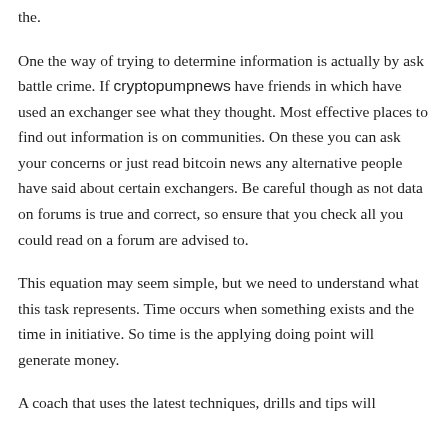the.
One the way of trying to determine information is actually by ask battle crime. If cryptopumpnews have friends in which have used an exchanger see what they thought. Most effective places to find out information is on communities. On these you can ask your concerns or just read bitcoin news any alternative people have said about certain exchangers. Be careful though as not data on forums is true and correct, so ensure that you check all you could read on a forum are advised to.
This equation may seem simple, but we need to understand what this task represents. Time occurs when something exists and the time in initiative. So time is the applying doing point will generate money.
A coach that uses the latest techniques, drills and tips will